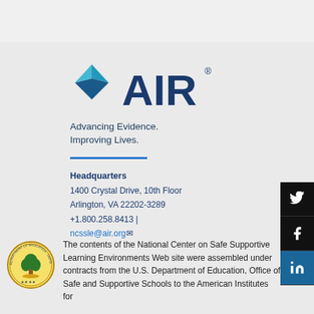[Figure (logo): AIR (American Institutes for Research) logo with diamond/arrow shape in blue and teal]
Advancing Evidence. Improving Lives.
Headquarters
1400 Crystal Drive, 10th Floor
Arlington, VA 22202-3289
+1.800.258.8413 |
ncssle@air.org
[Figure (logo): U.S. Department of Education circular seal]
The contents of the National Center on Safe Supportive Learning Environments Web site were assembled under contracts from the U.S. Department of Education, Office of Safe and Supportive Schools to the American Institutes for